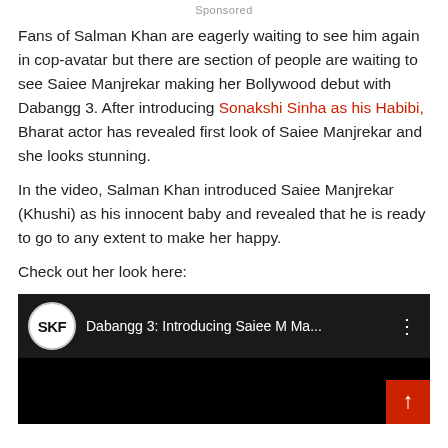Sponsored
Fans of Salman Khan are eagerly waiting to see him again in cop-avatar but there are section of people are waiting to see Saiee Manjrekar making her Bollywood debut with Dabangg 3. After introducing Sonakshi Sinha as his Habibi, Bharat actor has revealed first look of Saiee Manjrekar and she looks stunning.
In the video, Salman Khan introduced Saiee Manjrekar (Khushi) as his innocent baby and revealed that he is ready to go to any extent to make her happy.
Check out her look here:
[Figure (screenshot): YouTube video embed showing SKF logo and title 'Dabangg 3: Introducing Saiee M Ma...' with three-dot menu, on a dark background. A red scroll-to-top button appears in the bottom right corner.]